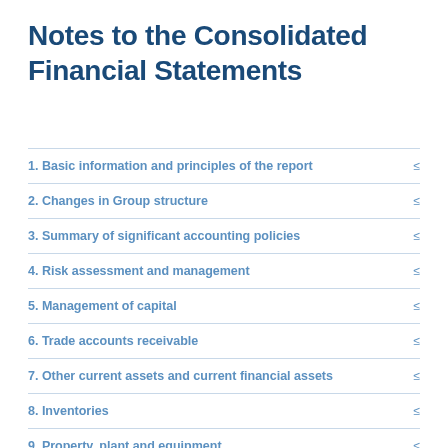Notes to the Consolidated Financial Statements
1. Basic information and principles of the report
2. Changes in Group structure
3. Summary of significant accounting policies
4. Risk assessment and management
5. Management of capital
6. Trade accounts receivable
7. Other current assets and current financial assets
8. Inventories
9. Property, plant and equipment
10. Other non-current assets and non-current financial assets